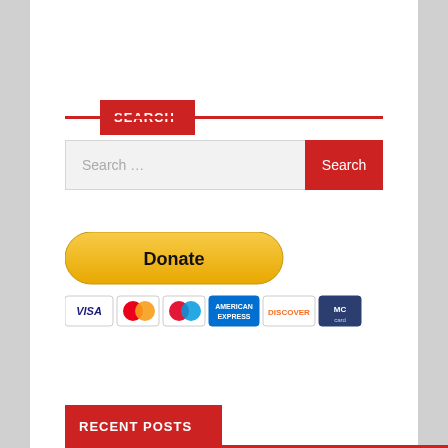SEARCH
Search …
[Figure (screenshot): PayPal Donate button with payment card icons (Visa, Mastercard, Mastercard red/blue, American Express, Discover, and one more card icon)]
RECENT POSTS